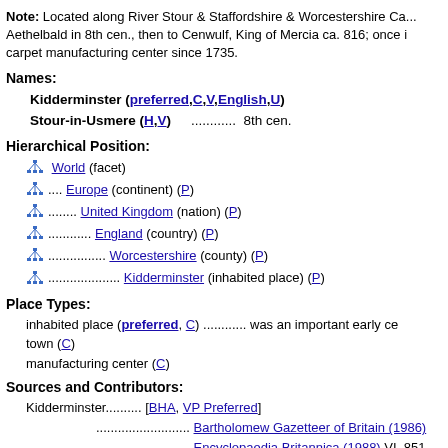Note: Located along River Stour & Staffordshire & Worcestershire Canal; held by King Aethelbald in 8th cen., then to Cenwulf, King of Mercia ca. 816; once important early center; carpet manufacturing center since 1735.
Names:
Kidderminster (preferred,C,V,English,U)
Stour-in-Usmere (H,V) ............. 8th cen.
Hierarchical Position:
World (facet)
.... Europe (continent) (P)
........ United Kingdom (nation) (P)
............ England (country) (P)
................ Worcestershire (county) (P)
.................... Kidderminster (inhabited place) (P)
Place Types:
inhabited place (preferred, C) ........... was an important early center
town (C)
manufacturing center (C)
Sources and Contributors:
Kidderminster.......... [BHA, VP Preferred]
.......................... Bartholomew Gazetteer of Britain (1986)
.......................... Encyclopaedia Britannica (1988) VI, 851
.......................... NGA/NIMA database (2003-)